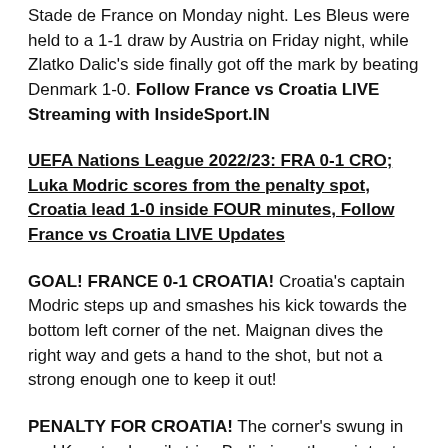Stade de France on Monday night. Les Bleus were held to a 1-1 draw by Austria on Friday night, while Zlatko Dalic's side finally got off the mark by beating Denmark 1-0. Follow France vs Croatia LIVE Streaming with InsideSport.IN
UEFA Nations League 2022/23: FRA 0-1 CRO; Luka Modric scores from the penalty spot, Croatia lead 1-0 inside FOUR minutes, Follow France vs Croatia LIVE Updates
GOAL! FRANCE 0-1 CROATIA! Croatia's captain Modric steps up and smashes his kick towards the bottom left corner of the net. Maignan dives the right way and gets a hand to the shot, but not a strong enough one to keep it out!
PENALTY FOR CROATIA! The corner's swung in and Konate clumsily trips Budimir as the pair try to reach the ball. Benzema tries to carry it out of the box, but it's too late as the referee points to the spot!